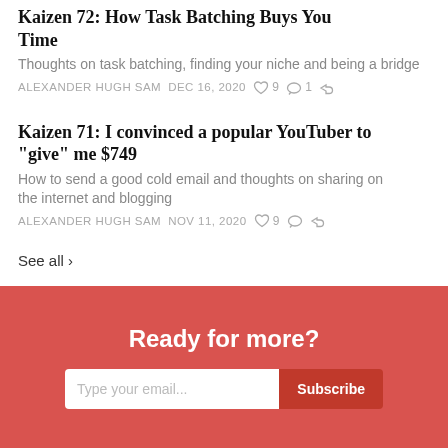Kaizen 72: How Task Batching Buys You Time
Thoughts on task batching, finding your niche and being a bridge
ALEXANDER HUGH SAM   DEC 16, 2020   ♡ 9   ○ 1
Kaizen 71: I convinced a popular YouTuber to "give" me $749
How to send a good cold email and thoughts on sharing on the internet and blogging
ALEXANDER HUGH SAM   NOV 11, 2020   ♡ 9
See all ›
Ready for more?
Type your email...   Subscribe